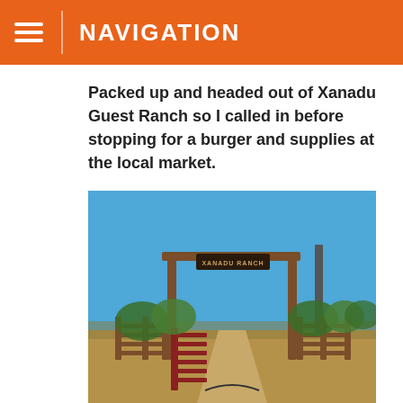NAVIGATION
Packed up and headed out of Xanadu Guest Ranch so I called in before stopping for a burger and supplies at the local market.
[Figure (photo): Entrance gate to Xanadu Ranch with wooden posts and sign overhead reading 'XANADU RANCH', a dirt road leading in, fencing on both sides, trees in background, clear blue sky.]